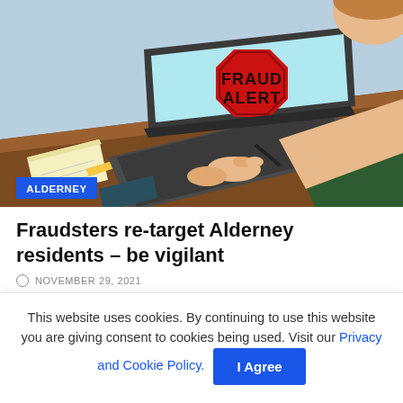[Figure (illustration): Illustration of a person typing on a laptop with a 'FRAUD ALERT' octagon sign displayed on the laptop screen. A notepad and pencil are on the desk. An 'ALDERNEY' category tag appears in the bottom left of the image.]
Fraudsters re-target Alderney residents – be vigilant
NOVEMBER 29, 2021
This website uses cookies. By continuing to use this website you are giving consent to cookies being used. Visit our Privacy and Cookie Policy.